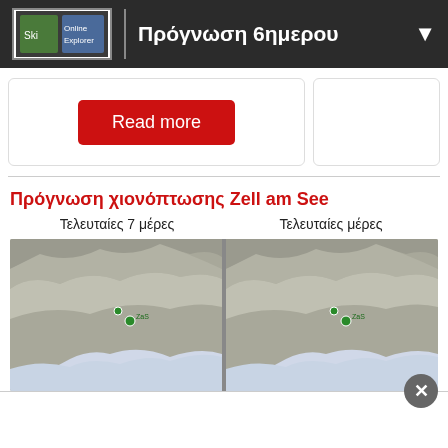Πρόγνωση 6ημερου
Read more
Πρόγνωση χιονόπτωσης Zell am See
Τελευταίες 7 μέρες
Τελευταίες μέρες
[Figure (map): Two side-by-side maps of the Alps region showing snowfall data for Zell am See, with mountainous terrain in grey tones and coastal/lake areas in light blue.]